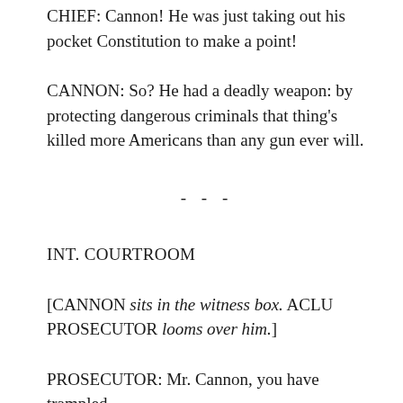CHIEF: Cannon! He was just taking out his pocket Constitution to make a point!
CANNON: So? He had a deadly weapon: by protecting dangerous criminals that thing’s killed more Americans than any gun ever will.
- - -
INT. COURTROOM
[CANNON sits in the witness box. ACLU PROSECUTOR looms over him.]
PROSECUTOR: Mr. Cannon, you have trampled